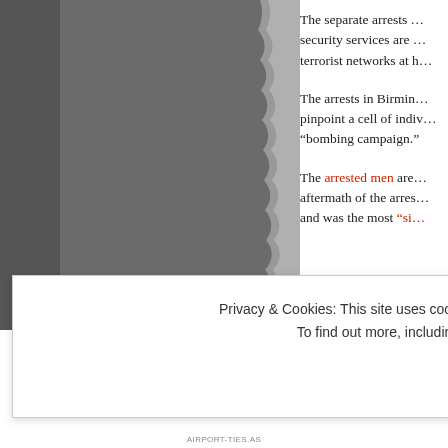[Figure (photo): Dark grey torn-edge photograph, left side of page, content obscured/cropped]
The separate arrests … security services are … terrorist networks at h…
The arrests in Birmin… pinpoint a cell of indiv… “bombing campaign.”
The arrested men are… aftermath of the arres… and was the most “si…
Privacy & Cookies: This site uses cookies. By continuing to use this website, you agree to their use.
To find out more, including how to control cookies, see here: Cookie Policy
AIRPORT-TIES.AS